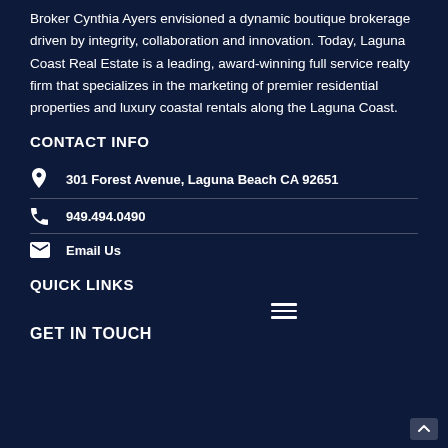Broker Cynthia Ayers envisioned a dynamic boutique brokerage driven by integrity, collaboration and innovation. Today, Laguna Coast Real Estate is a leading, award-winning full service realty firm that specializes in the marketing of premier residential properties and luxury coastal rentals along the Laguna Coast.
CONTACT INFO
301 Forest Avenue, Laguna Beach CA 92651
949.494.0490
Email Us
QUICK LINKS
[Figure (other): Hamburger menu icon (three horizontal lines)]
GET IN TOUCH